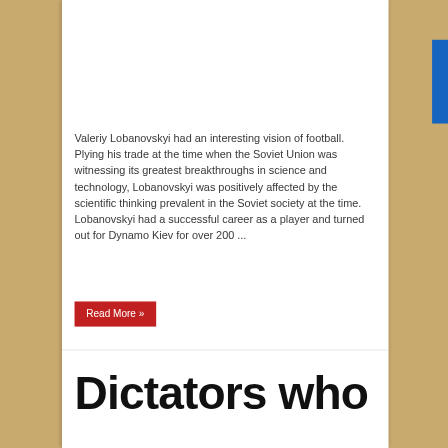Valeriy Lobanovskyi had an interesting vision of football. Plying his trade at the time when the Soviet Union was witnessing its greatest breakthroughs in science and technology, Lobanovskyi was positively affected by the scientific thinking prevalent in the Soviet society at the time. Lobanovskyi had a successful career as a player and turned out for Dynamo Kiev for over 200 ...
Read More »
Dictators who